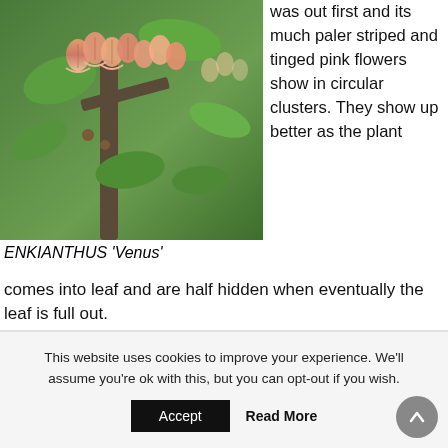[Figure (photo): Close-up photograph of Enkianthus 'Venus' plant showing clusters of pink and orange bell-shaped flowers among green leaves]
ENKIANTHUS 'Venus'
was out first and its much paler striped and tinged pink flowers show in circular clusters. They show up better as the plant comes into leaf and are half hidden when eventually the leaf is full out.
This website uses cookies to improve your experience. We'll assume you're ok with this, but you can opt-out if you wish.